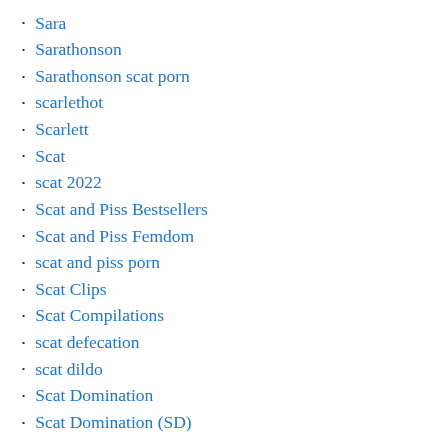Sara
Sarathonson
Sarathonson scat porn
scarlethot
Scarlett
Scat
scat 2022
Scat and Piss Bestsellers
Scat and Piss Femdom
scat and piss porn
Scat Clips
Scat Compilations
scat defecation
scat dildo
Scat Domination
Scat Domination (SD)